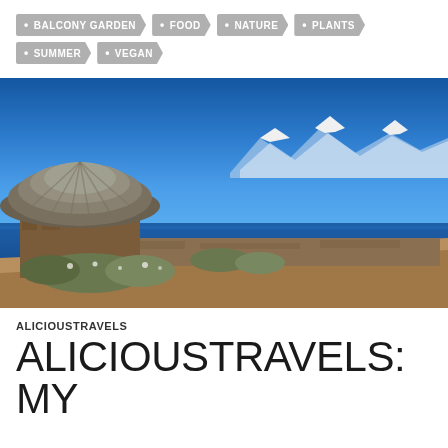• BALCONY GARDEN
• FOOD
• NATURE
• PLANTS
• SUMMER
• VEGAN
[Figure (photo): A traditional thatched-roof mud hut on an arid hillside overlooking a deep blue lake with snow-capped mountains visible in the background under a clear blue sky.]
ALICIOUSTRAVELS
ALICIOUSTRAVELS: MY